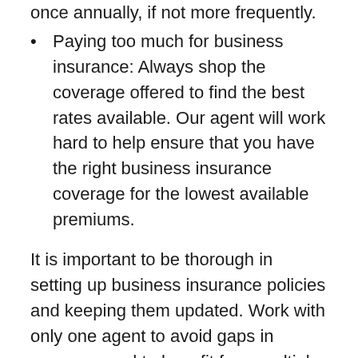once annually, if not more frequently.
Paying too much for business insurance: Always shop the coverage offered to find the best rates available. Our agent will work hard to help ensure that you have the right business insurance coverage for the lowest available premiums.
It is important to be thorough in setting up business insurance policies and keeping them updated. Work with only one agent to avoid gaps in coverage and to benefit from multiple-policy discounts. Regularly, at least once a year, meet with your insurance agent and review your business policies carefully.
If your business is expanding, you may be purchasing equipment, setting up new facilities, hiring employees, or adding to your product or service lines. To protect all